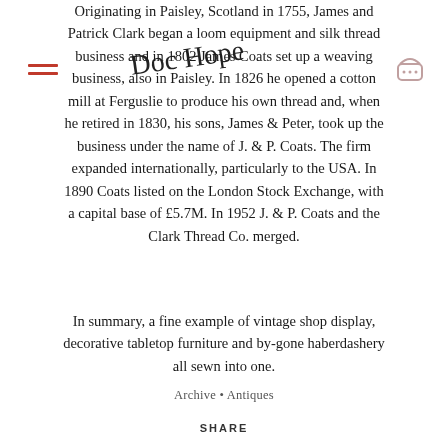Originating in Paisley, Scotland in 1755, James and Patrick Clark began a loom equipment and silk thread business and in 1802 James Coats set up a weaving business, also in Paisley. In 1826 he opened a cotton mill at Ferguslie to produce his own thread and, when he retired in 1830, his sons, James & Peter, took up the business under the name of J. & P. Coats. The firm expanded internationally, particularly to the USA. In 1890 Coats listed on the London Stock Exchange, with a capital base of £5.7M. In 1952 J. & P. Coats and the Clark Thread Co. merged.
In summary, a fine example of vintage shop display, decorative tabletop furniture and by-gone haberdashery all sewn into one.
Archive • Antiques
SHARE